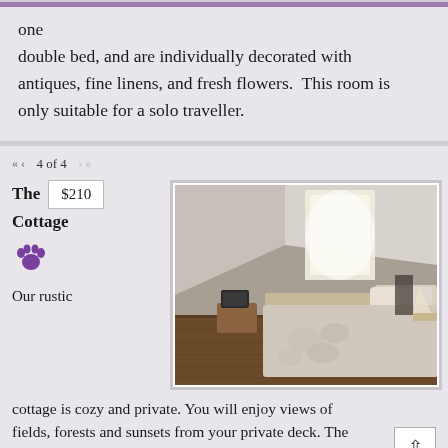one double bed, and are individually decorated with antiques, fine linens, and fresh flowers. This room is only suitable for a solo traveller.
« ‹  4 of 4  › »
The Cottage
$210
[Figure (photo): Bedroom photo showing a double bed with floral bedspread, slanted ceiling/attic room, wooden floor, small TV on a nightstand, bright window, and a lamp.]
Our rustic cottage is cozy and private. You will enjoy views of fields, forests and sunsets from your private deck. The first floor includes a living area with a sleep sofa, tv/d